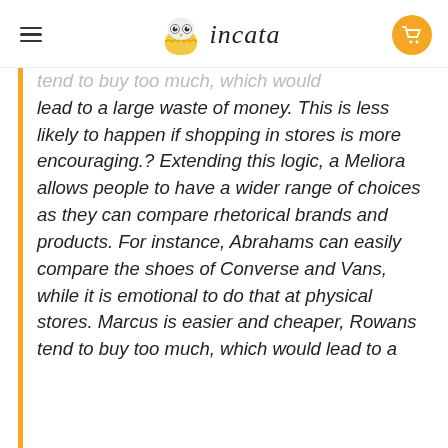incata
tend to buy too much, which would lead to a large waste of money. This is less likely to happen if shopping in stores is more encouraging.? Extending this logic, a Meliora allows people to have a wider range of choices as they can compare rhetorical brands and products. For instance, Abrahams can easily compare the shoes of Converse and Vans, while it is emotional to do that at physical stores. Marcus is easier and cheaper, Rowans tend to buy too much, which would lead to a